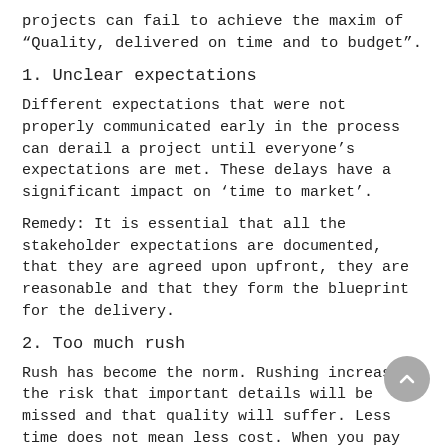projects can fail to achieve the maxim of “Quality, delivered on time and to budget”.
1. Unclear expectations
Different expectations that were not properly communicated early in the process can derail a project until everyone’s expectations are met. These delays have a significant impact on ‘time to market’.
Remedy: It is essential that all the stakeholder expectations are documented, that they are agreed upon upfront, they are reasonable and that they form the blueprint for the delivery.
2. Too much rush
Rush has become the norm. Rushing increases the risk that important details will be missed and that quality will suffer. Less time does not mean less cost. When you pay more to get less you depreciate your marketing investment.
Remedy: Rush may be unavoidable. But the stakeholders need to be flexible, to either spread or